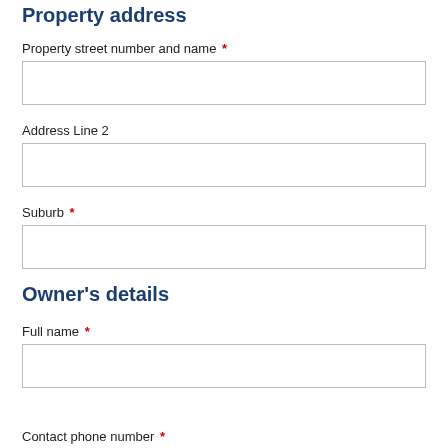Property address
Property street number and name *
Address Line 2
Suburb *
Owner's details
Full name *
Contact phone number *